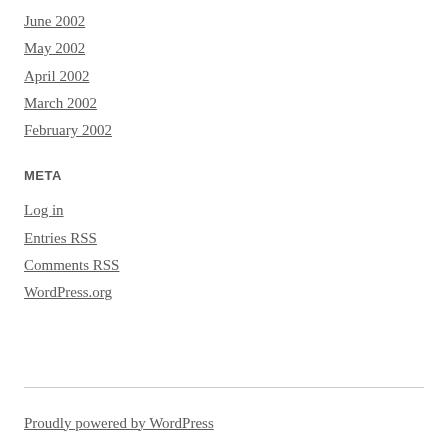June 2002
May 2002
April 2002
March 2002
February 2002
META
Log in
Entries RSS
Comments RSS
WordPress.org
Proudly powered by WordPress